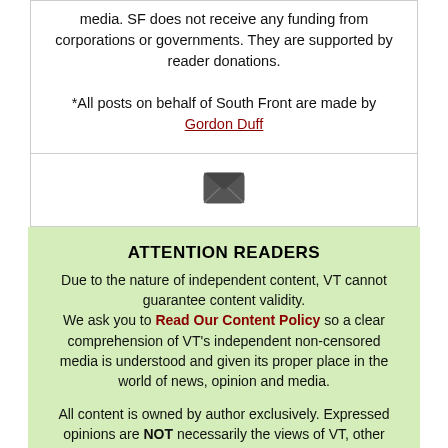media. SF does not receive any funding from corporations or governments. They are supported by reader donations.
*All posts on behalf of South Front are made by Gordon Duff
[Figure (illustration): Email envelope icon]
ATTENTION READERS
Due to the nature of independent content, VT cannot guarantee content validity. We ask you to Read Our Content Policy so a clear comprehension of VT's independent non-censored media is understood and given its proper place in the world of news, opinion and media.
All content is owned by author exclusively. Expressed opinions are NOT necessarily the views of VT, other authors, affiliates, advertisers, sponsors, partners or technicians. Some content may be satirical in nature. All images within are full responsibility of author and NOT VT.
About VT - Read Full Policy Notice - Comment Policy